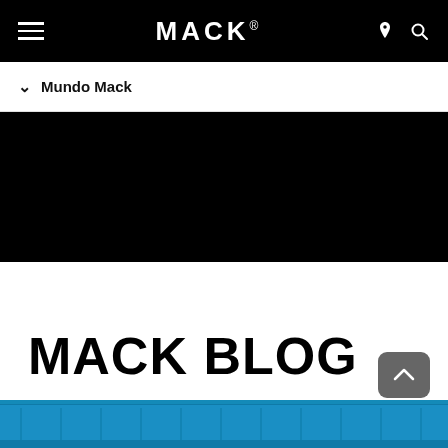MACK.
Mundo Mack
[Figure (photo): Black hero image area, likely a dark photo of a Mack truck or scene]
MACK BLOG
[Figure (photo): Bottom strip showing a blue Mack truck or blue industrial scene]